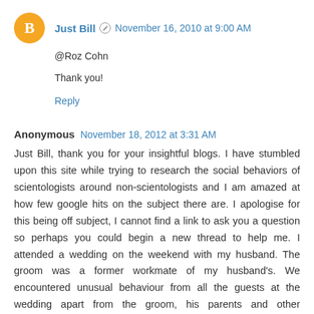Just Bill • November 16, 2010 at 9:00 AM
@Roz Cohn
Thank you!
Reply
Anonymous November 18, 2012 at 3:31 AM
Just Bill, thank you for your insightful blogs. I have stumbled upon this site while trying to research the social behaviors of scientologists around non-scientologists and I am amazed at how few google hits on the subject there are. I apologise for this being off subject, I cannot find a link to ask you a question so perhaps you could begin a new thread to help me. I attended a wedding on the weekend with my husband. The groom was a former workmate of my husband's. We encountered unusual behaviour from all the guests at the wedding apart from the groom, his parents and other workmates of my husband. I find it hard to explain other than to say that we felt ostracized and,